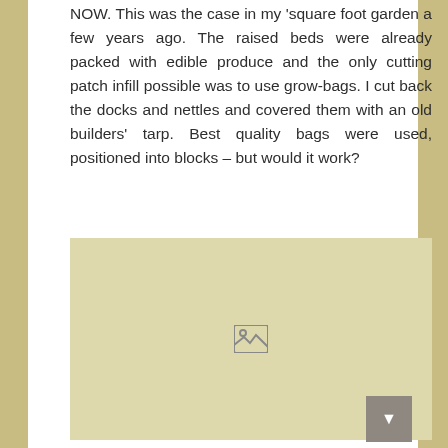NOW. This was the case in my 'square foot garden a few years ago. The raised beds were already packed with edible produce and the only cutting patch infill possible was to use grow-bags. I cut back the docks and nettles and covered them with an old builders' tarp. Best quality bags were used, positioned into blocks – but would it work?
[Figure (photo): Placeholder image box with a broken/missing image icon in the center, light tan/yellow background]